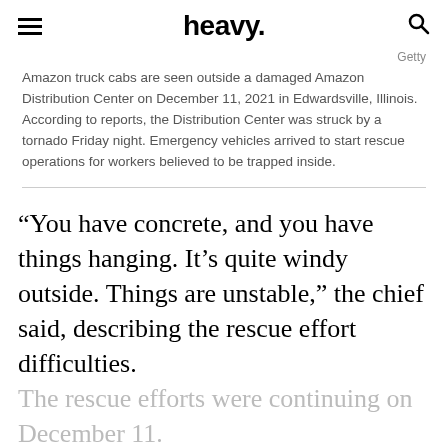heavy.
Getty
Amazon truck cabs are seen outside a damaged Amazon Distribution Center on December 11, 2021 in Edwardsville, Illinois. According to reports, the Distribution Center was struck by a tornado Friday night. Emergency vehicles arrived to start rescue operations for workers believed to be trapped inside.
“You have concrete, and you have things hanging. It’s quite windy outside. Things are unstable,” the chief said, describing the rescue effort difficulties.
The rescue efforts were continuing on December 11.